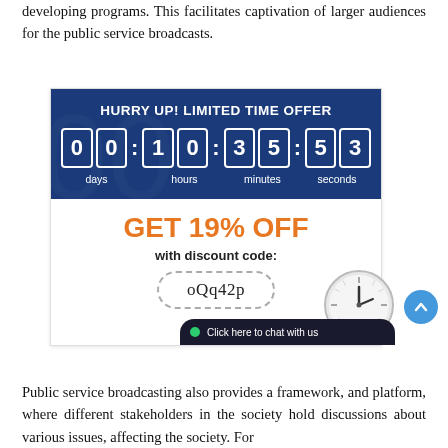developing programs. This facilitates captivation of larger audiences for the public service broadcasts.
[Figure (infographic): Promotional countdown timer advertisement with dark blue background showing '00:10:35:53' (days, hours, minutes, seconds), text 'HURRY UP! LIMITED TIME OFFER', orange 'GET 19% OFF' text, discount code 'oQq42p' in dashed border box, partially visible clock image, and 'Click here to chat with us' bar at bottom.]
Public service broadcasting also provides a framework, and platform, where different stakeholders in the society hold discussions about various issues, affecting the society. For